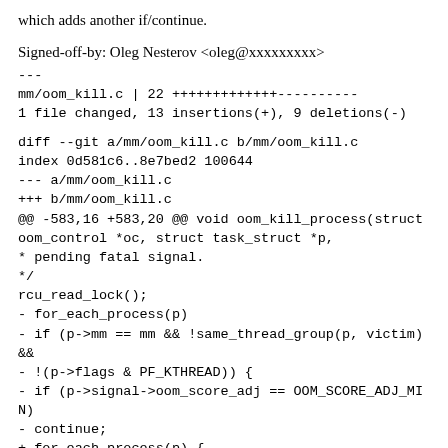which adds another if/continue.
Signed-off-by: Oleg Nesterov <oleg@xxxxxxxxx>
---
mm/oom_kill.c | 22 +++++++++++++----------
1 file changed, 13 insertions(+), 9 deletions(-)
diff --git a/mm/oom_kill.c b/mm/oom_kill.c
index 0d581c6..8e7bed2 100644
--- a/mm/oom_kill.c
+++ b/mm/oom_kill.c
@@ -583,16 +583,20 @@ void oom_kill_process(struct oom_control *oc, struct task_struct *p,
 * pending fatal signal.
 */
rcu_read_lock();
- for_each_process(p)
- if (p->mm == mm && !same_thread_group(p, victim) &&
- !(p->flags & PF_KTHREAD)) {
- if (p->signal->oom_score_adj == OOM_SCORE_ADJ_MIN)
- continue;
+ for_each_process(p) {
+ if (unlikely(p->flags & PF_KTHREAD))
+ continue;
+ if (same_thread_group(p, victim))